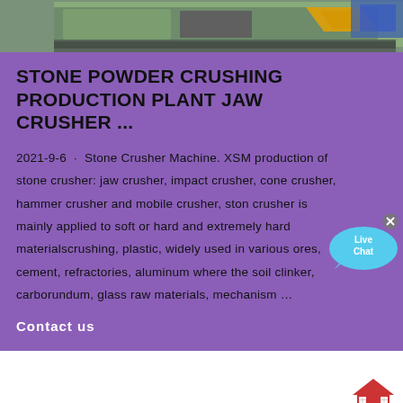[Figure (photo): Top portion of a stone crusher machine, showing industrial equipment in green/grey tones with orange accent]
STONE POWDER CRUSHING PRODUCTION PLANT JAW CRUSHER ...
2021-9-6 · Stone Crusher Machine. XSM production of stone crusher: jaw crusher, impact crusher, cone crusher, hammer crusher and mobile crusher, stone crusher is mainly applied to soft or hard and extremely hard materialscrushing, plastic, widely used in various ores, cement, refractories, aluminum where the soil clinker, carborundum, glass raw materials, mechanism …
[Figure (infographic): Live Chat speech bubble icon in blue/purple with text 'Live Chat' and a close X button]
Contact us
[Figure (illustration): Small house/home icon emoji in the bottom right of the white area]